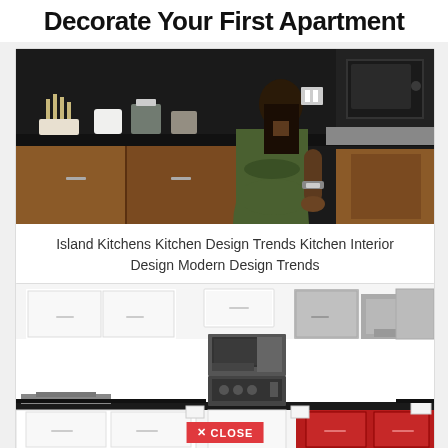Decorate Your First Apartment
[Figure (photo): Woman in green dress standing at a dark kitchen island counter with wooden cabinets and appliances]
Island Kitchens Kitchen Design Trends Kitchen Interior Design Modern Design Trends
[Figure (photo): Modern white kitchen with wall cabinets, built-in microwave and oven, range hood, and red lower cabinet accent. A close button overlay is visible at the bottom.]